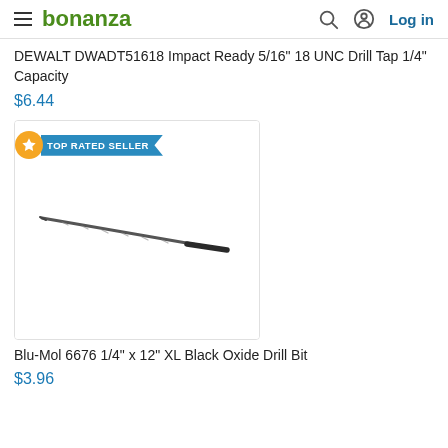bonanza — Log in
DEWALT DWADT51618 Impact Ready 5/16" 18 UNC Drill Tap 1/4" Capacity
$6.44
[Figure (photo): Product photo of Blu-Mol 6676 1/4" x 12" XL Black Oxide Drill Bit with 'TOP RATED SELLER' badge]
Blu-Mol 6676 1/4" x 12" XL Black Oxide Drill Bit
$3.96